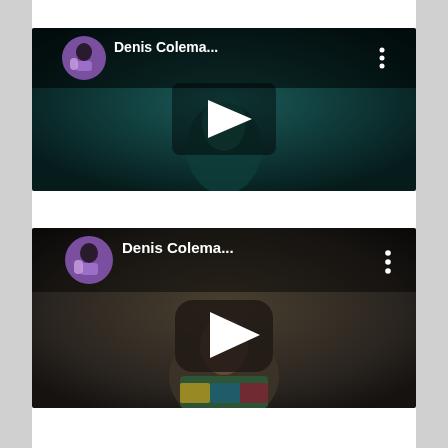[Figure (screenshot): YouTube video thumbnail showing Denis Colema... channel. Dark teal-toned video frame with a person's face visible. White play button in center. Channel avatar (person in colorful outfit) and three-dot menu visible at top.]
[Figure (screenshot): YouTube video thumbnail showing Denis Colema... channel. Dark grey-brown video frame with a person wearing a colorful sweater. Dark rounded play button in center. Channel avatar (person in colorful outfit) and three-dot menu visible at top.]